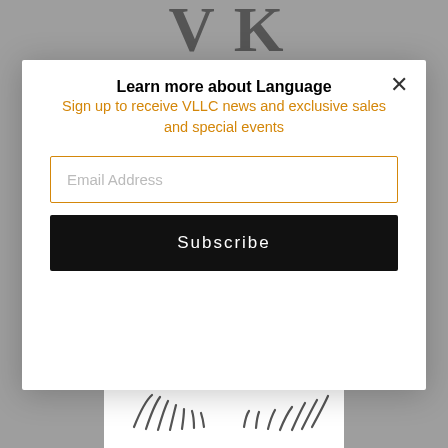[Figure (screenshot): Background of a website page showing a partial logo with large stylized 'V' letters and gray bars at the top, and an eyelash illustration at the bottom]
Learn more about Language
Sign up to receive VLLC news and exclusive sales and special events
Email Address
Subscribe